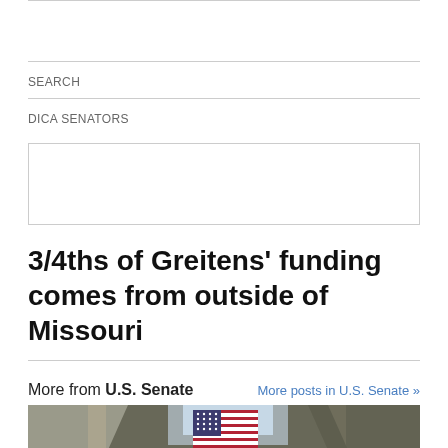SEARCH
DICA SENATORS
3/4ths of Greitens’ funding comes from outside of Missouri
More from U.S. Senate
More posts in U.S. Senate »
[Figure (photo): Interior view of a building with an American flag hanging from the ceiling/rafters]